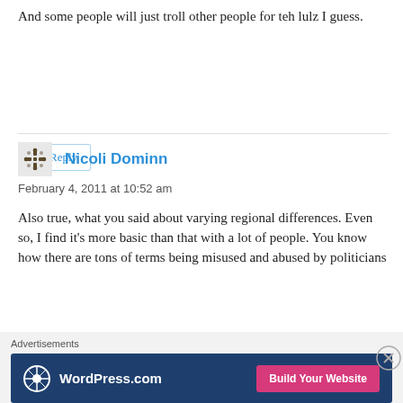And some people will just troll other people for teh lulz I guess.
Reply
Nicoli Dominn
February 4, 2011 at 10:52 am
Also true, what you said about varying regional differences. Even so, I find it's more basic than that with a lot of people. You know how there are tons of terms being misused and abused by politicians
Advertisements
[Figure (other): WordPress.com advertisement banner with logo and 'Build Your Website' button]